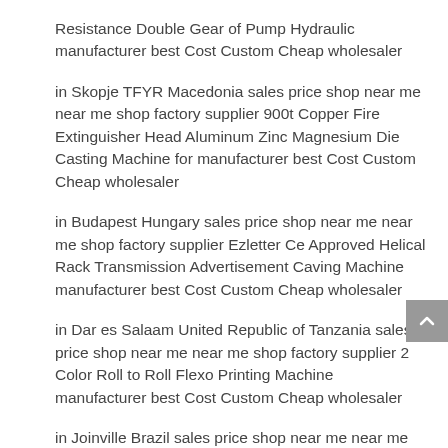Resistance Double Gear of Pump Hydraulic manufacturer best Cost Custom Cheap wholesaler
in Skopje TFYR Macedonia sales price shop near me near me shop factory supplier 900t Copper Fire Extinguisher Head Aluminum Zinc Magnesium Die Casting Machine for manufacturer best Cost Custom Cheap wholesaler
in Budapest Hungary sales price shop near me near me shop factory supplier Ezletter Ce Approved Helical Rack Transmission Advertisement Caving Machine manufacturer best Cost Custom Cheap wholesaler
in Dar es Salaam United Republic of Tanzania sales price shop near me near me shop factory supplier 2 Color Roll to Roll Flexo Printing Machine manufacturer best Cost Custom Cheap wholesaler
in Joinville Brazil sales price shop near me near me shop factory supplier Mainframe and Large Motor